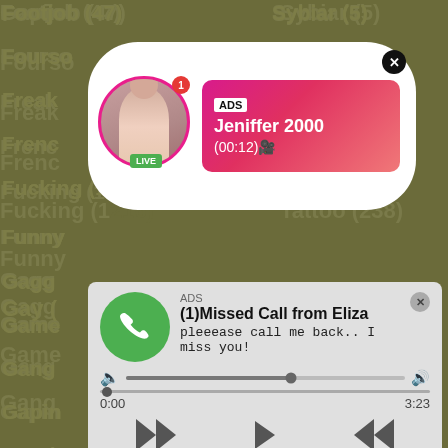Footjob (47)
Sybiar (5)
Fourso...
Freak...
Frenc...
Fucking (1216)
Tattoo (238)
Funny...
Gagg...
Game...
Gang...
Gapin...
Gay (...
German (741)
Threesome (692)
Ghetto (8)
Throat (679)
Giant (29)
Tied (67)
Girl (2055)
Tight (321)
Girlfriend (204)
Tiny (93)
Giving (30)
Tits (2848)
Glamour (4)
Toilet (11)
[Figure (screenshot): Live stream ad popup showing a woman with LIVE badge, ADS label, name Jeniffer 2000, time (00:12)]
[Figure (screenshot): Missed call notification popup: ADS, (1)Missed Call from Eliza, pleeease call me back.. I miss you!, audio player with progress bar, time 0:00 / 3:23, playback controls]